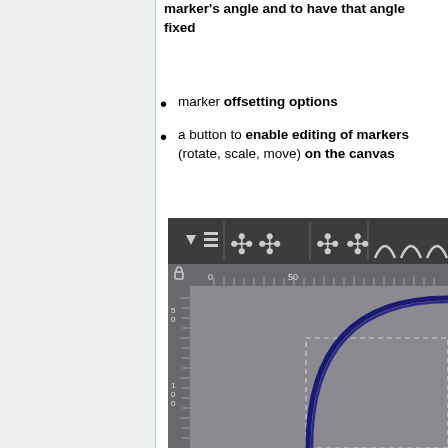marker's angle and to have that angle fixed
marker offsetting options
a button to enable editing of markers (rotate, scale, move) on the canvas
[Figure (screenshot): Screenshot of a graphics editor showing a toolbar with object transformation icons (align, distribute, scale controls), a horizontal and vertical ruler, and a canvas area with a dark curve/arc shape inside a dashed selection rectangle.]